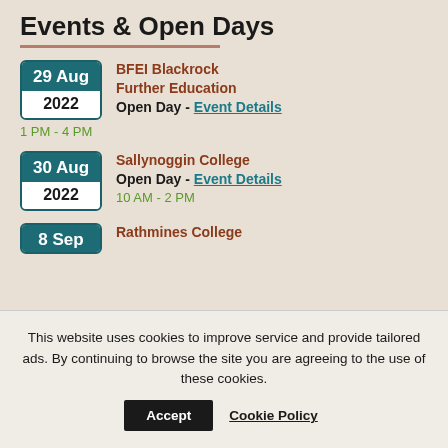Events & Open Days
29 Aug 2022 - BFEI Blackrock Further Education Open Day - Event Details - 1 PM - 4 PM
30 Aug 2022 - Sallynoggin College Open Day - Event Details - 10 AM - 2 PM
8 Sep - Rathmines College
This website uses cookies to improve service and provide tailored ads. By continuing to browse the site you are agreeing to the use of these cookies.